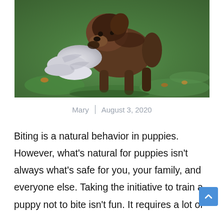[Figure (photo): A small brown puppy playing outdoors on grass, tugging on a white cloth or rope toy]
Mary | August 3, 2020
Biting is a natural behavior in puppies. However, what's natural for puppies isn't always what's safe for you, your family, and everyone else. Taking the initiative to train a puppy not to bite isn't fun. It requires a lot of